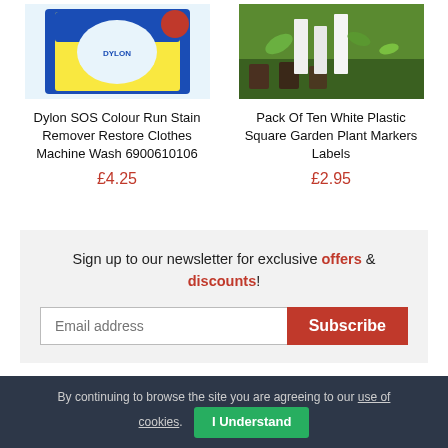[Figure (photo): Product image of Dylon SOS Colour Run Stain Remover, blue and yellow packaging]
[Figure (photo): Photo of white plastic square garden plant markers/labels in soil]
Dylon SOS Colour Run Stain Remover Restore Clothes Machine Wash 6900610106
Pack Of Ten White Plastic Square Garden Plant Markers Labels
£4.25
£2.95
Sign up to our newsletter for exclusive offers & discounts!
By continuing to browse the site you are agreeing to our use of cookies.